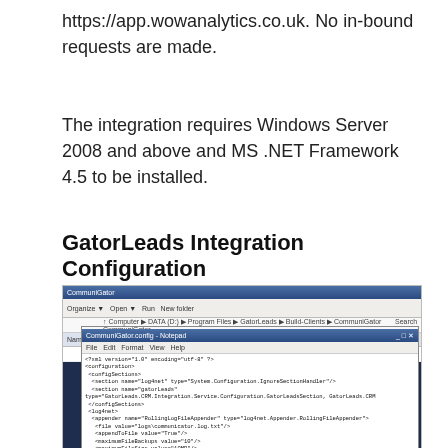https://app.wowanalytics.co.uk. No in-bound requests are made.
The integration requires Windows Server 2008 and above and MS .NET Framework 4.5 to be installed.
GatorLeads Integration Configuration
[Figure (screenshot): Screenshot of Windows Explorer showing GatorLeads CommuniGator config file, overlaid with Notepad showing XML configuration file content including configuration sections for loginet and gatorLeads with operations and settings.]